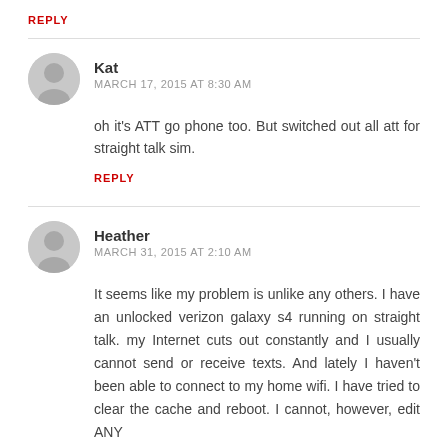REPLY
Kat
MARCH 17, 2015 AT 8:30 AM
oh it's ATT go phone too. But switched out all att for straight talk sim.
REPLY
Heather
MARCH 31, 2015 AT 2:10 AM
It seems like my problem is unlike any others. I have an unlocked verizon galaxy s4 running on straight talk. my Internet cuts out constantly and I usually cannot send or receive texts. And lately I haven't been able to connect to my home wifi. I have tried to clear the cache and reboot. I cannot, however, edit ANY